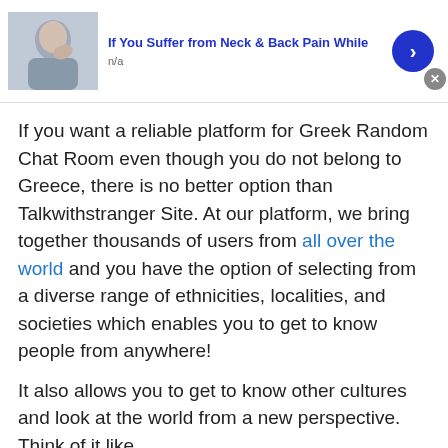[Figure (screenshot): Top advertisement banner: image of person touching neck, title 'If You Suffer from Neck & Back Pain While', subtitle 'n/a', blue circular arrow button, gray close button]
If you want a reliable platform for Greek Random Chat Room even though you do not belong to Greece, there is no better option than Talkwithstranger Site. At our platform, we bring together thousands of users from all over the world and you have the option of selecting from a diverse range of ethnicities, localities, and societies which enables you to get to know people from anywhere!
It also allows you to get to know other cultures and look at the world from a new perspective. Think of it like
[Figure (screenshot): Bottom advertisement banner: image of woman touching neck/throat, title 'If You Suffer from Neck & Back Pain While', subtitle 'n/a', blue circular arrow button, gray close button]